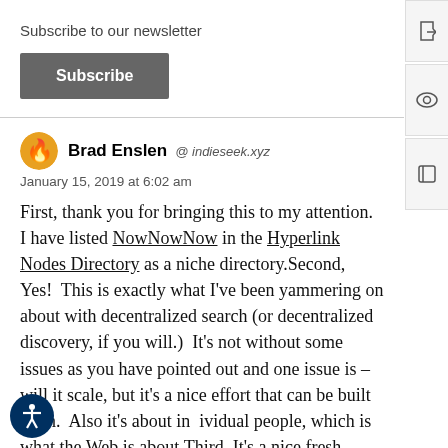Subscribe to our newsletter
Subscribe
Brad Enslen @ indieseek.xyz
January 15, 2019 at 6:02 am
First, thank you for bringing this to my attention.  I have listed NowNowNow in the Hyperlink Nodes Directory as a niche directory.Second, Yes!  This is exactly what I've been yammering on about with decentralized search (or decentralized discovery, if you will.)  It's not without some issues as you have pointed out and one issue is – will it scale, but it's a nice effort that can be built upon.  Also it's about individual people, which is what the Web is about.Third, It's a nice fresh approach to a blog